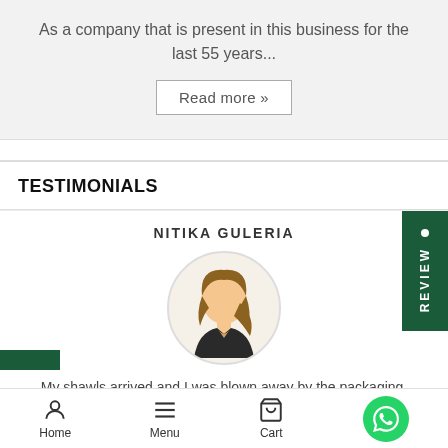As a company that is present in this business for the last 55 years...
Read more »
TESTIMONIALS
NITIKA GULERIA
[Figure (illustration): Avatar illustration of a woman with brown hair in a circular frame]
My shawls arrived and I was blown away by the packaging.
Before I even get to my two beautiful pieces...
Home   Menu   Cart